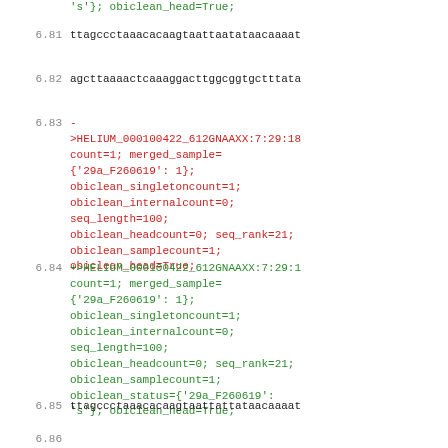's'}; obiclean_head=True;
6.81    ttagccctaaacacaagtaattaatataacaaaat
6.82    agcttaaaactcaaaggacttggcggtgctttata
6.83    -
>HELIUM_000100422_612GNAAXX:7:29:18
count=1; merged_sample=
{'29a_F260619': 1};
obiclean_singletoncount=1;
obiclean_internalcount=0;
seq_length=100;
obiclean_headcount=0; seq_rank=21;
obiclean_samplecount=1;
obiclean_head=True;
6.84    +>HELIUM_000100422_612GNAAXX:7:29:1
count=1; merged_sample=
{'29a_F260619': 1};
obiclean_singletoncount=1;
obiclean_internalcount=0;
seq_length=100;
obiclean_headcount=0; seq_rank=21;
obiclean_samplecount=1;
obiclean_status={'29a_F260619':
's'}; obiclean_head=True;
6.85    ttagccctaaacacaagtaattattataacaaaat
6.86